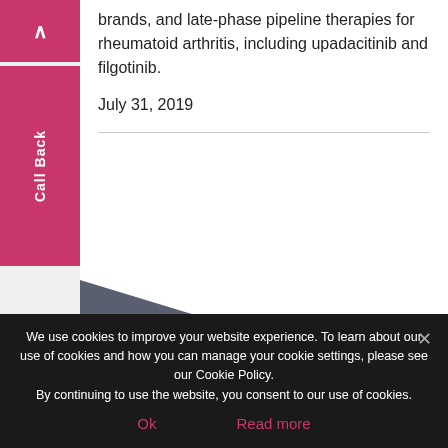brands, and late-phase pipeline therapies for rheumatoid arthritis, including upadacitinib and filgotinib.
July 31, 2019
[Figure (other): KOL Insight July 2019 report cover preview showing dark gray triangle graphic with pink 'KOL INSIGHT' title and 'JULY 2019' subtitle, plus a small purple triangle element]
We use cookies to improve your website experience. To learn about our use of cookies and how you can manage your cookie settings, please see our Cookie Policy. By continuing to use the website, you consent to our use of cookies.